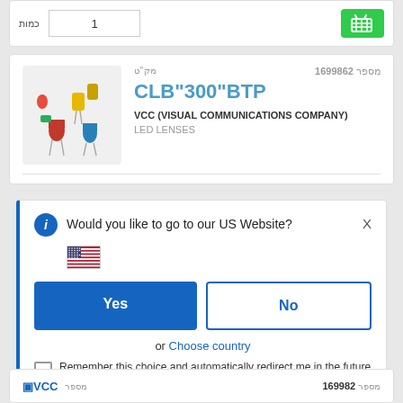[Figure (screenshot): Top card with quantity input field showing '1' and green shopping cart button]
[Figure (photo): Product image showing LED components - red, yellow, green, blue LED lenses]
מק"ט
מספר 1699862
CLB"300"BTP
VCC (VISUAL COMMUNICATIONS COMPANY)
LED LENSES
Would you like to go to our US Website?
[Figure (illustration): US flag emoji]
Yes
No
or  Choose country
Remember this choice and automatically redirect me in the future
VCC
מספר 1699862